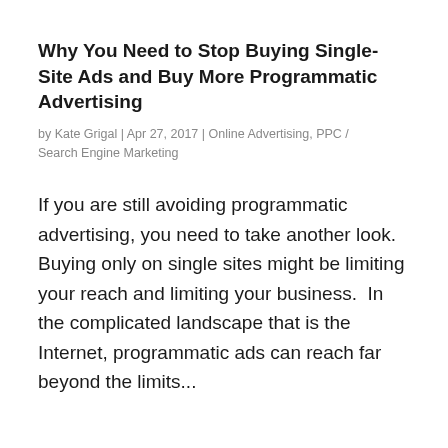Why You Need to Stop Buying Single-Site Ads and Buy More Programmatic Advertising
by Kate Grigal | Apr 27, 2017 | Online Advertising, PPC / Search Engine Marketing
If you are still avoiding programmatic advertising, you need to take another look. Buying only on single sites might be limiting your reach and limiting your business.  In the complicated landscape that is the Internet, programmatic ads can reach far beyond the limits...